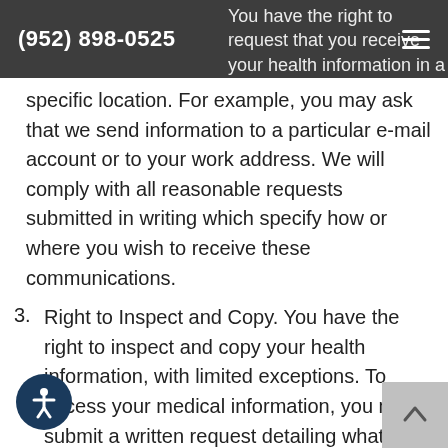(952) 898-0525
You have the right to request that you receive your health information in a specific way or at a specific location. For example, you may ask that we send information to a particular e-mail account or to your work address. We will comply with all reasonable requests submitted in writing which specify how or where you wish to receive these communications.
3. Right to Inspect and Copy. You have the right to inspect and copy your health information, with limited exceptions. To access your medical information, you must submit a written request detailing what information you want access to, whether you want to inspect it or get a copy of it, and if you want a copy, your preferred form and format. We will provide copies in your requested form and format if it is readily